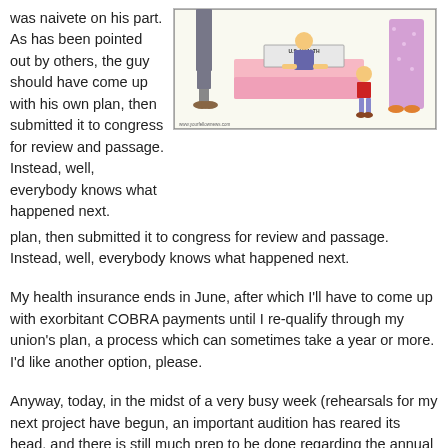was naivete on his part. As has been pointed out by others, the guy should have come up with his own plan, then submitted it to congress for review and passage. Instead, well, everybody knows what happened next.
[Figure (illustration): A cartoon showing a family (adults and a child) standing at a desk/booth labeled 'U.S. HEALTHCARE SYSTEM'. A person sits behind the desk. The URL www.yourfellownews.com appears at the bottom left of the cartoon.]
My health insurance ends in June, after which I'll have to come up with exorbitant COBRA payments until I re-qualify through my union's plan, a process which can sometimes take a year or more. I'd like another option, please.
Anyway, today, in the midst of a very busy week (rehearsals for my next project have begun, an important audition has reared its head, and there is still much prep to be done regarding the annual group audition I help run next week), I received the following alert from the District of Columbia.